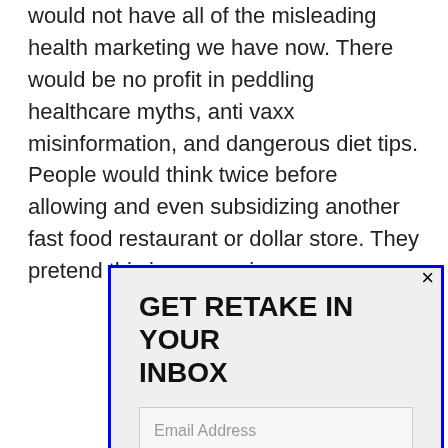would not have all of the misleading health marketing we have now. There would be no profit in peddling healthcare myths, anti vaxx misinformation, and dangerous diet tips. People would think twice before allowing and even subsidizing another fast food restaurant or dollar store. They pretend this is economic
GET RETAKE IN YOUR INBOX
Email Address
SUBSCRIBE
Join 4,165 other subscribers